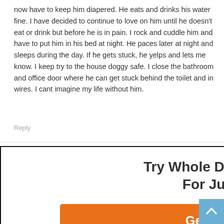now have to keep him diapered. He eats and drinks his water fine. I have decided to continue to love on him until he doesn't eat or drink but before he is in pain. I rock and cuddle him and have to put him in his bed at night. He paces later at night and sleeps during the day. If he gets stuck, he yelps and lets me know. I keep try to the house doggy safe. I close the bathroom and office door where he can get stuck behind the toilet and in wires. I cant imagine my life without him.
Reply
Roshinie Pillay  January 5, 2021 At 4:00 am
[Figure (infographic): Modal popup ad for Whole Dog Journal subscription. Title: 'Try Whole Dog Journal For Just $1' with an orange 'Get Started' button and a close (X) button in black.]